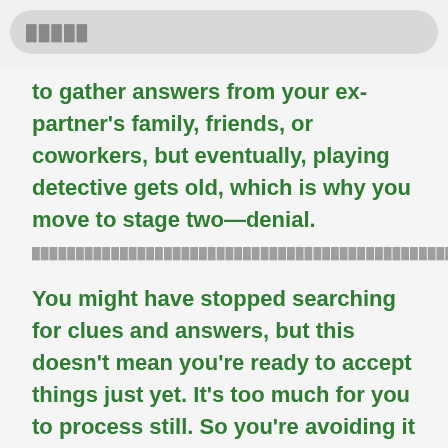█████
to gather answers from your ex-partner's family, friends, or coworkers, but eventually, playing detective gets old, which is why you move to stage two—denial.
████████████████████████████████████████████████████████████████████████████████████████████████████████████████████████████████████████████████████████████████████████████████████████
You might have stopped searching for clues and answers, but this doesn't mean you're ready to accept things just yet. It's too much for you to process still. So you're avoiding it for now, hoping it's just a bad dream you'll wake up from.
████████████████████████████████████████████████████████████████████████████████████████████████████████████████████████████████████████████████████████████████████████████████████████████████████